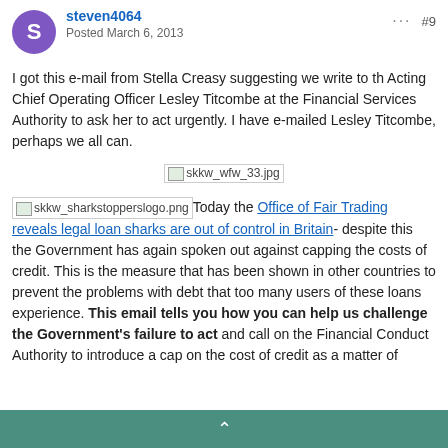steven4064 — Posted March 6, 2013 — #9
I got this e-mail from Stella Creasy suggesting we write to th Acting Chief Operating Officer Lesley Titcombe at the Financial Services Authority to ask her to act urgently. I have e-mailed Lesley Titcombe, perhaps we all can.
[Figure (other): Broken image placeholder: skkw_wfw_33.jpg]
[skkw_sharkstopperslogo.png] Today the Office of Fair Trading reveals legal loan sharks are out of control in Britain- despite this the Government has again spoken out against capping the costs of credit. This is the measure that has been shown in other countries to prevent the problems with debt that too many users of these loans experience. This email tells you how you can help us challenge the Government's failure to act and call on the Financial Conduct Authority to introduce a cap on the cost of credit as a matter of
^